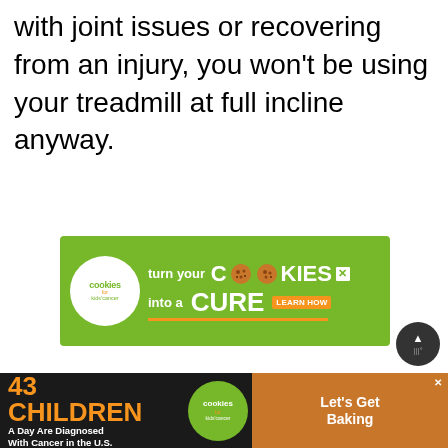with joint issues or recovering from an injury, you won't be using your treadmill at full incline anyway.
[Figure (infographic): Advertisement banner for 'Cookies for Kids' Cancer' charity: green background with white circle logo, text 'turn your COOKIES into a CURE LEARN HOW' with cookie images replacing Os in COOKIES. Close button top right.]
[Figure (infographic): Bottom advertisement bar: dark background with orange text '43 CHILDREN A Day Are Diagnosed With Cancer in the U.S.', Cookies for Kids Cancer green circular logo, and brown 'Let's Get Baking' section. Close button visible.]